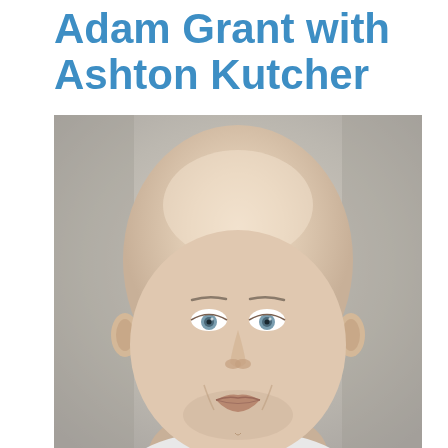Adam Grant with Ashton Kutcher
By Live Talks LA | February 9, 2020
[Figure (photo): Headshot of a bald man with light eyes and a slight smile, photographed against a blurred gray background]